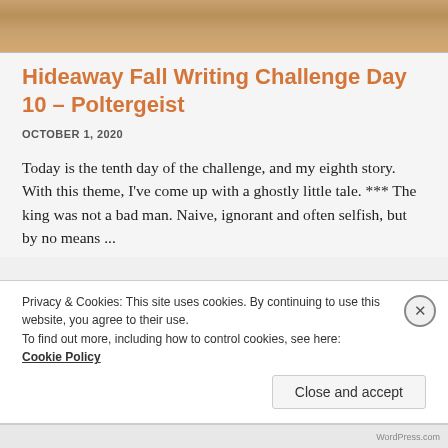[Figure (photo): Top portion of a photo showing wooden floor/surface in warm brown tones]
Hideaway Fall Writing Challenge Day 10 – Poltergeist
OCTOBER 1, 2020
Today is the tenth day of the challenge, and my eighth story. With this theme, I've come up with a ghostly little tale. *** The king was not a bad man. Naive, ignorant and often selfish, but by no means ...
Privacy & Cookies: This site uses cookies. By continuing to use this website, you agree to their use.
To find out more, including how to control cookies, see here: Cookie Policy
Close and accept